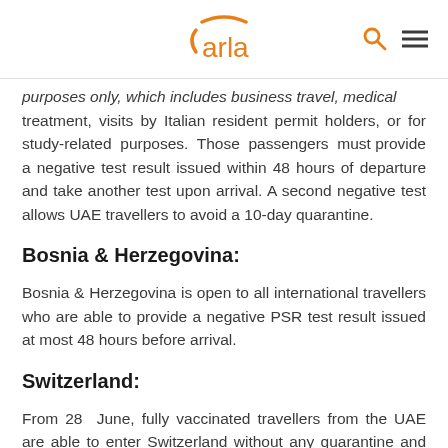carla (logo with search and menu icons)
purposes only, which includes business travel, medical treatment, visits by Italian resident permit holders, or for study-related purposes. Those passengers must provide a negative test result issued within 48 hours of departure and take another test upon arrival. A second negative test allows UAE travellers to avoid a 10-day quarantine.
Bosnia & Herzegovina:
Bosnia & Herzegovina is open to all international travellers who are able to provide a negative PSR test result issued at most 48 hours before arrival.
Switzerland:
From 28 June, fully vaccinated travellers from the UAE are able to enter Switzerland without any quarantine and pre-testing measures. However, you must have received